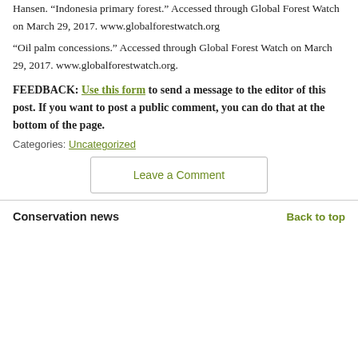Hansen. “Indonesia primary forest.” Accessed through Global Forest Watch on March 29, 2017. www.globalforestwatch.org
“Oil palm concessions.” Accessed through Global Forest Watch on March 29, 2017. www.globalforestwatch.org.
FEEDBACK: Use this form to send a message to the editor of this post. If you want to post a public comment, you can do that at the bottom of the page.
Categories: Uncategorized
Leave a Comment
Conservation news
Back to top